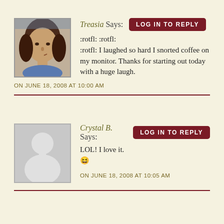[Figure (photo): Profile photo of Treasia, a woman with brown hair]
Treasia Says:
LOG IN TO REPLY
:rotfl: :rotfl:
:rotfl: I laughed so hard I snorted coffee on my monitor. Thanks for starting out today with a huge laugh.
ON JUNE 18, 2008 AT 10:00 AM
[Figure (illustration): Default avatar placeholder silhouette for Crystal B.]
Crystal B. Says:
LOG IN TO REPLY
LOL! I love it. 😆
ON JUNE 18, 2008 AT 10:05 AM